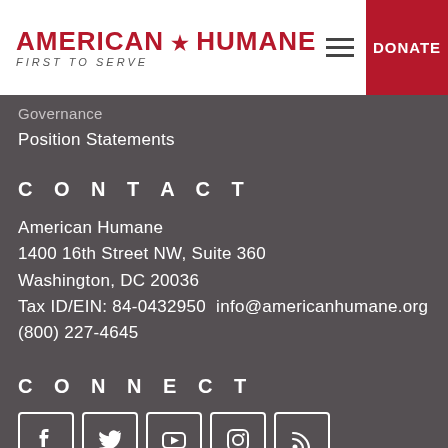AMERICAN HUMANE FIRST TO SERVE — DONATE
Governance
Position Statements
CONTACT
American Humane
1400 16th Street NW, Suite 360
Washington, DC 20036
Tax ID/EIN: 84-0432950  info@americanhumane.org
(800) 227-4645
CONNECT
[Figure (other): Social media icons: Facebook, Twitter, YouTube, Instagram, RSS]